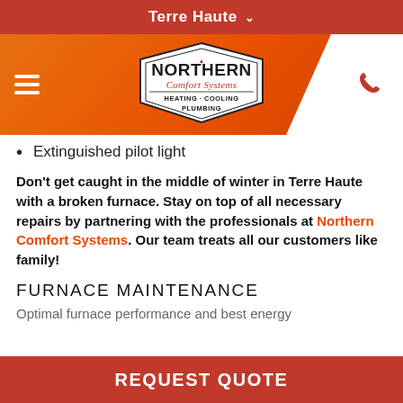Terre Haute
[Figure (logo): Northern Comfort Systems logo — shield/badge shape with text NORTHERN Comfort Systems HEATING · COOLING PLUMBING]
Extinguished pilot light
Don't get caught in the middle of winter in Terre Haute with a broken furnace. Stay on top of all necessary repairs by partnering with the professionals at Northern Comfort Systems. Our team treats all our customers like family!
FURNACE MAINTENANCE
Optimal furnace performance and best energy
REQUEST QUOTE